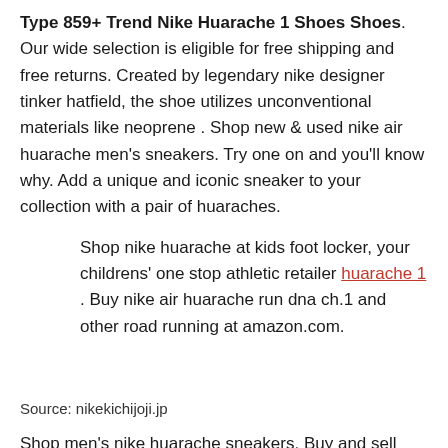Type 859+ Trend Nike Huarache 1 Shoes Shoes. Our wide selection is eligible for free shipping and free returns. Created by legendary nike designer tinker hatfield, the shoe utilizes unconventional materials like neoprene . Shop new & used nike air huarache men's sneakers. Try one on and you'll know why. Add a unique and iconic sneaker to your collection with a pair of huaraches.
Shop nike huarache at kids foot locker, your childrens' one stop athletic retailer huarache 1 . Buy nike air huarache run dna ch.1 and other road running at amazon.com.
Source: nikekichijoji.jp
Shop men's nike huarache sneakers. Buy and sell nike huarache shoes at the best price on stockx, the live